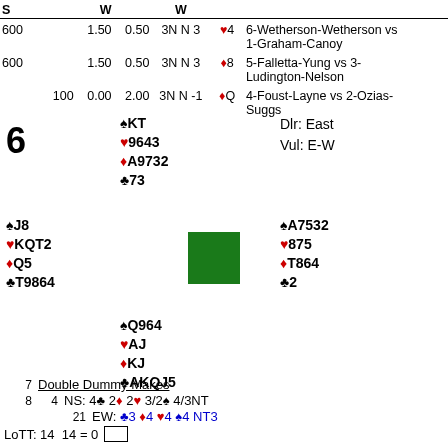| S | W |  | W |  |  |  |
| --- | --- | --- | --- | --- | --- | --- |
| 600 |  | 1.50 | 0.50 | 3N N 3 | ♥4 | 6-Wetherson-Wetherson vs 1-Graham-Canoy |
| 600 |  | 1.50 | 0.50 | 3N N 3 | ♦8 | 5-Falletta-Yung vs 3-Ludington-Nelson |
|  | 100 | 0.00 | 2.00 | 3N N -1 | ♦Q | 4-Foust-Layne vs 2-Ozias-Suggs |
6  Board 6 — Dlr: East, Vul: E-W
North: ♠KT ♥9643 ♦A9732 ♣73
West: ♠J8 ♥KQT2 ♦Q5 ♣T9864
East: ♠A7532 ♥875 ♦T864 ♣2
South: ♠Q964 ♥AJ ♦KJ ♣AKQJ5
7  Double Dummy Makes
8  4  NS: 4♣ 2♦ 2♥ 3/2♠ 4/3NT
21  EW: ♣3 ♦4 ♥4 ♠4 NT3
LoTT: 14  14 = 0